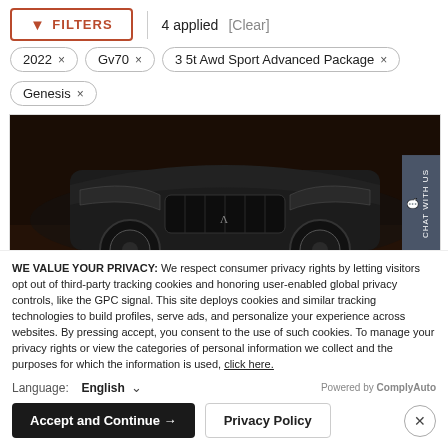FILTERS | 4 applied [Clear]
2022 ×
Gv70 ×
3 5t Awd Sport Advanced Package ×
Genesis ×
[Figure (photo): Front view of a dark Genesis GV80 SUV on a dark background]
2023 GENESIS GV80 2.5T AWD PRESTIGE
WE VALUE YOUR PRIVACY: We respect consumer privacy rights by letting visitors opt out of third-party tracking cookies and honoring user-enabled global privacy controls, like the GPC signal. This site deploys cookies and similar tracking technologies to build profiles, serve ads, and personalize your experience across websites. By pressing accept, you consent to the use of such cookies. To manage your privacy rights or view the categories of personal information we collect and the purposes for which the information is used, click here.
Language: English  Powered by ComplyAuto
Accept and Continue →  Privacy Policy  ×